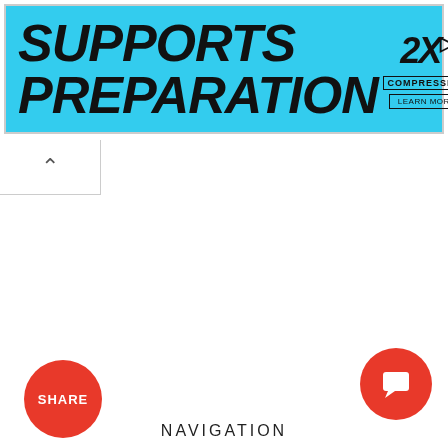[Figure (screenshot): Advertisement banner with cyan/blue background. Left side shows bold italic text 'SUPPORTS PREPARATION' in black. Right side shows '2XU' brand logo with compression tag and 'LEARN MORE' button.]
[Figure (screenshot): Red circular SHARE button with white text 'SHARE']
[Figure (screenshot): Red circular chat/comment button in bottom right corner with white speech bubble icon]
NAVIGATION